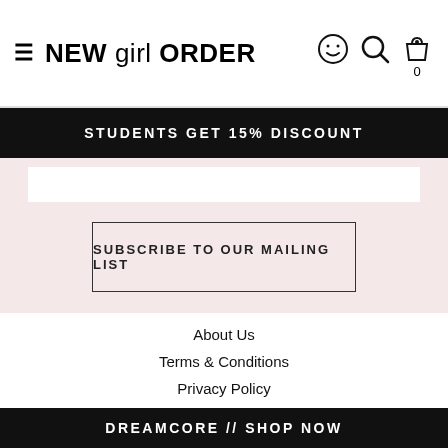NEW girl ORDER
STUDENTS GET 15% DISCOUNT
SUBSCRIBE TO OUR MAILING LIST
About Us
Terms & Conditions
Privacy Policy
Delivery
Exchange & Returns
Account
DREAMCORE // SHOP NOW